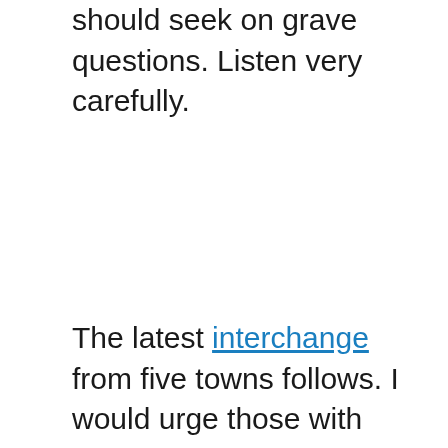should seek on grave questions. Listen very carefully.
The latest interchange from five towns follows. I would urge those with true יראת שמים to distance themselves